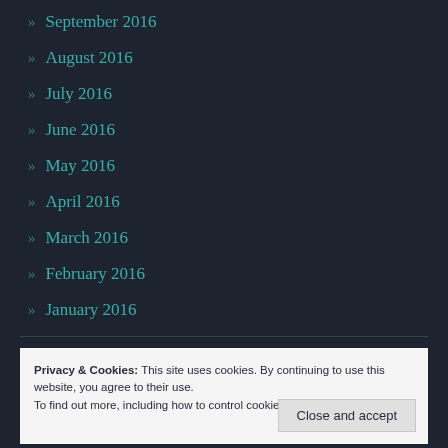» September 2016
» August 2016
» July 2016
» June 2016
» May 2016
» April 2016
» March 2016
» February 2016
» January 2016
Privacy & Cookies: This site uses cookies. By continuing to use this website, you agree to their use.
To find out more, including how to control cookies, see here: Cookie Policy
Close and accept